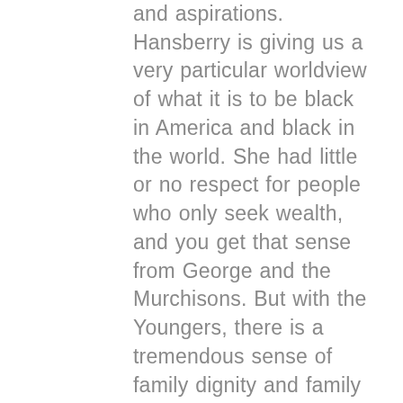and aspirations. Hansberry is giving us a very particular worldview of what it is to be black in America and black in the world. She had little or no respect for people who only seek wealth, and you get that sense from George and the Murchisons. But with the Youngers, there is a tremendous sense of family dignity and family history. When we first met as a cast, we talked about how one of the first things we hear when some tragedy occurs is, "What would Martin Luther King have to say about XYZ if he were